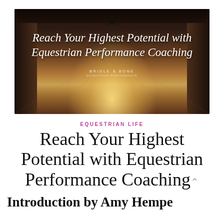[Figure (photo): Indoor equestrian arena with a horse and rider silhouetted in the distance against a bright golden light on the sandy floor. Overlaid script text reads 'Reach Your Highest Potential with Equestrian Performance Coaching' with a 'Bridle & Bone' brand mark below.]
EQUESTRIAN LIFE
Reach Your Highest Potential with Equestrian Performance Coaching
Introduction by Amy Hempe